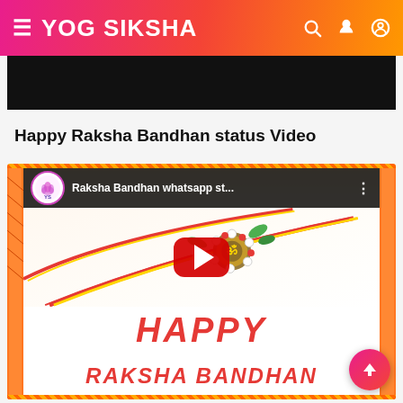YOG SIKSHA
[Figure (screenshot): Black video thumbnail bar at top of page]
Happy Raksha Bandhan status Video
[Figure (screenshot): YouTube video embed showing Raksha Bandhan whatsapp status video with rakhi decoration, play button, and HAPPY RAKSHA BANDHAN text]